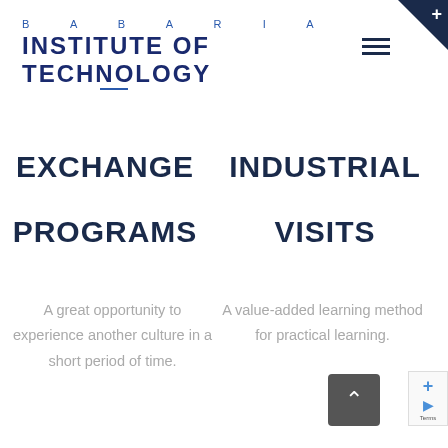BABARIA INSTITUTE OF TECHNOLOGY
EXCHANGE PROGRAMS
INDUSTRIAL VISITS
A great opportunity to experience another culture in a short period of time.
A value-added learning method for practical learning.